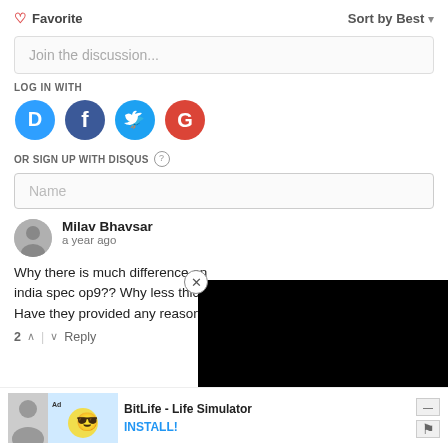♡ Favorite
Sort by Best ▾
Join the discussion...
LOG IN WITH
[Figure (illustration): Social login icons: Disqus (blue speech bubble with D), Facebook (dark blue circle with f), Twitter (cyan circle with bird), Google (red circle with G)]
OR SIGN UP WITH DISQUS ?
Name
Milav Bhavsar
a year ago
Why there is much difference on india spec op9?? Why less thickn... Have they provided any reason fo...
2 ▲ | ▾   Reply
[Figure (screenshot): Black video overlay panel covering the right portion of the page]
Ad  BitLife - Life Simulator  INSTALL!